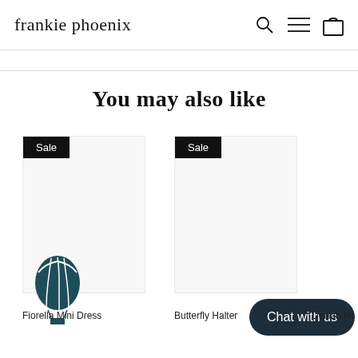frankie phoenix
You may also like
[Figure (screenshot): Product card with Sale badge - empty image placeholder]
[Figure (screenshot): Product card with Sale badge - empty image placeholder]
[Figure (illustration): Hot air balloon icon in dark teal color]
Chat with us
Fiorella Mini Dress
Butterfly Halter
Delilah M